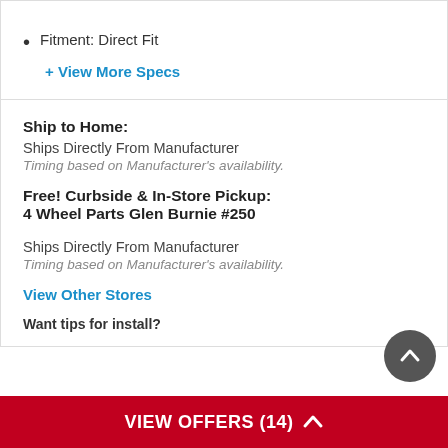Fitment: Direct Fit
+ View More Specs
Ship to Home:
Ships Directly From Manufacturer
Timing based on Manufacturer's availability.
Free! Curbside & In-Store Pickup:
4 Wheel Parts Glen Burnie #250
Ships Directly From Manufacturer
Timing based on Manufacturer's availability.
View Other Stores
VIEW OFFERS (14)